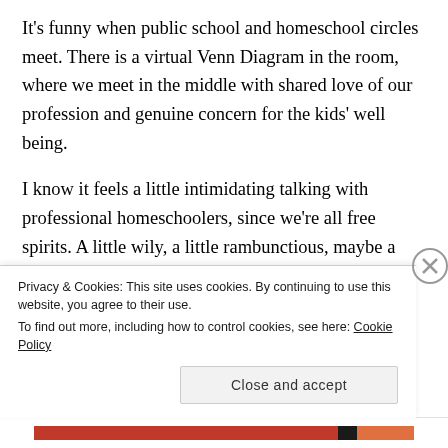It's funny when public school and homeschool circles meet. There is a virtual Venn Diagram in the room, where we meet in the middle with shared love of our profession and genuine concern for the kids' well being.
I know it feels a little intimidating talking with professional homeschoolers, since we're all free spirits. A little wily, a little rambunctious, maybe a little opinionated. We have the authority to pull the plug on this program whenever we want, which also means it is in everyone's best interest to remember what we all
Privacy & Cookies: This site uses cookies. By continuing to use this website, you agree to their use.
To find out more, including how to control cookies, see here: Cookie Policy